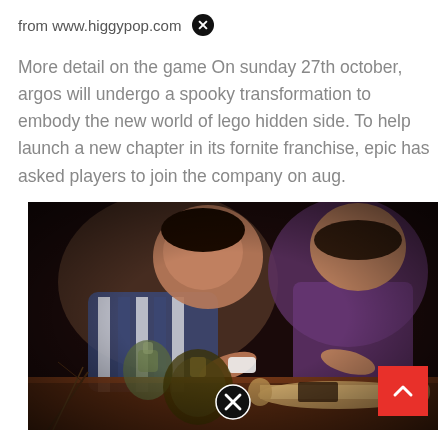from www.higgypop.com ✕
More detail on the game On sunday 27th october, argos will undergo a spooky transformation to embody the new world of lego hidden side. To help launch a new chapter in its fornite franchise, epic has asked players to join the company on aug.
[Figure (photo): Two children leaning over a wooden table examining objects including glass bottles and a rolled map in a dark, moody setting.]